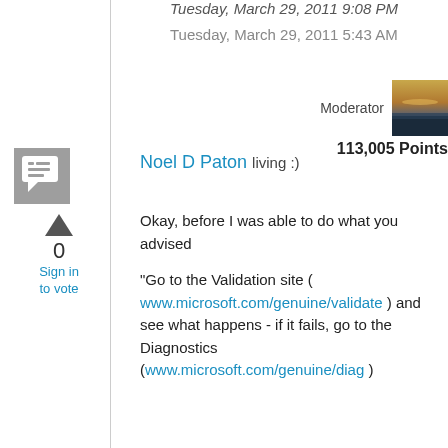Tuesday, March 29, 2011 9:08 PM
Tuesday, March 29, 2011 5:43 AM
Moderator
113,005 Points
Noel D Paton living :)
[Figure (other): Vote/answer icon button - square grey button with chat/answer symbol]
0
Sign in to vote
Okay, before I was able to do what you advised

"Go to the Validation site ( www.microsoft.com/genuine/validate ) and see what happens - if it fails, go to the Diagnostics (www.microsoft.com/genuine/diag )